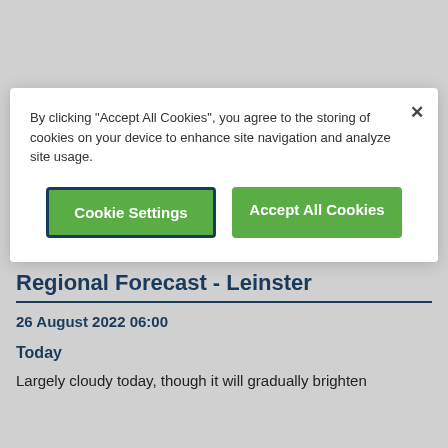with occasional outbreaks of rain throughout the day. Elsewhere, it will stay mostly dry with decent sunny
[Figure (screenshot): Cookie consent modal with 'Cookie Settings' and 'Accept All Cookies' buttons on a white card overlay]
By clicking "Accept All Cookies", you agree to the storing of cookies on your device to enhance site navigation and analyze site usage.
Cookie Settings
Accept All Cookies
Regional Forecast - Leinster
26 August 2022 06:00
Today
Largely cloudy today, though it will gradually brighten